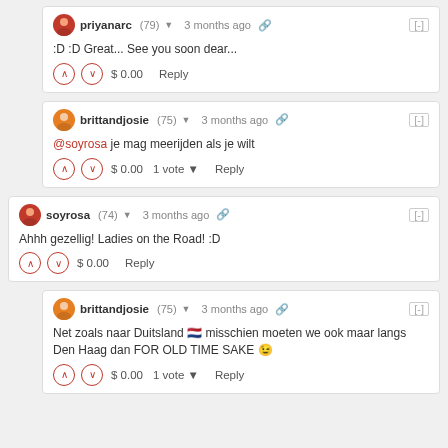priyanarc (79) 3 months ago
:D :D Great... See you soon dear...
$ 0.00 Reply
brittandjosie (75) 3 months ago
@soyrosa je mag meerijden als je wilt
$ 0.00 1 vote Reply
soyrosa (74) 3 months ago
Ahhh gezellig! Ladies on the Road! :D
$ 0.00 Reply
brittandjosie (75) 3 months ago
Net zoals naar Duitsland misschien moeten we ook maar langs Den Haag dan FOR OLD TIME SAKE
$ 0.00 1 vote Reply